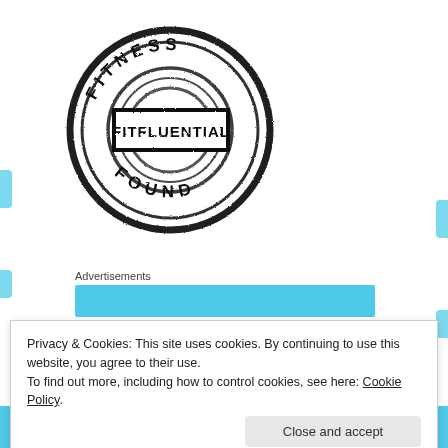[Figure (logo): FitFluential fitness stamp logo — circular rubber stamp design with 'FITNESS' arched at top, 'FOUND' arched at bottom, 'FITFLUENTIAL' in a rectangular banner across the center, distressed/grunge black ink style]
Advertisements
Privacy & Cookies: This site uses cookies. By continuing to use this website, you agree to their use.
To find out more, including how to control cookies, see here: Cookie Policy
Close and accept